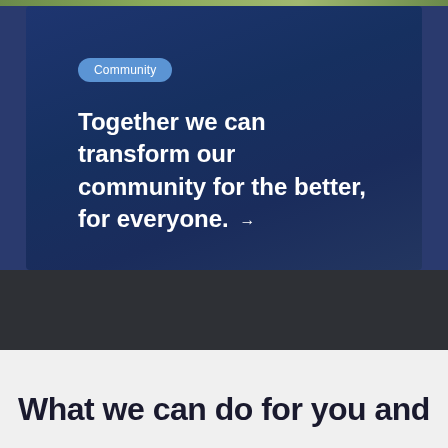[Figure (screenshot): Dark blue community card with 'Community' badge pill and headline text on gradient blue background]
Community
Together we can transform our community for the better, for everyone. →
What we can do for you and